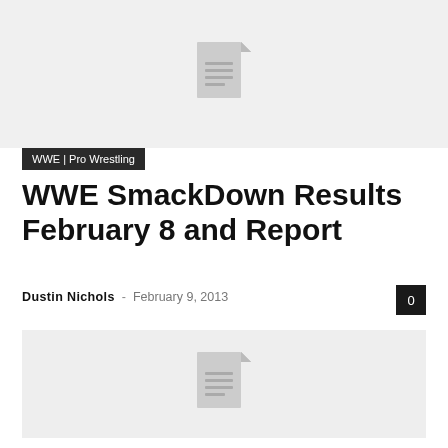[Figure (illustration): Document placeholder image with a document/file icon on a light gray background]
WWE | Pro Wrestling
WWE SmackDown Results February 8 and Report
Dustin Nichols – February 9, 2013  0
[Figure (illustration): Second document placeholder image with a document/file icon on a light gray background]